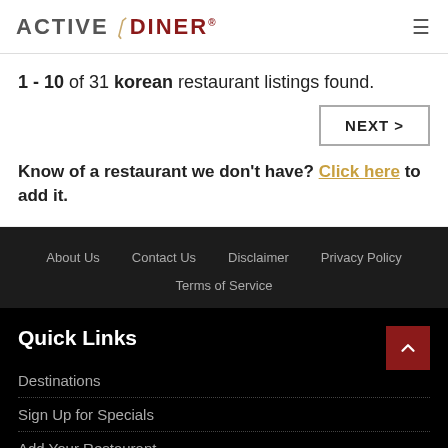ACTIVE DINER
1 - 10 of 31 korean restaurant listings found.
NEXT >
Know of a restaurant we don't have? Click here to add it.
About Us | Contact Us | Disclaimer | Privacy Policy | Terms of Service
Quick Links
Destinations
Sign Up for Specials
Add Your Restaurant